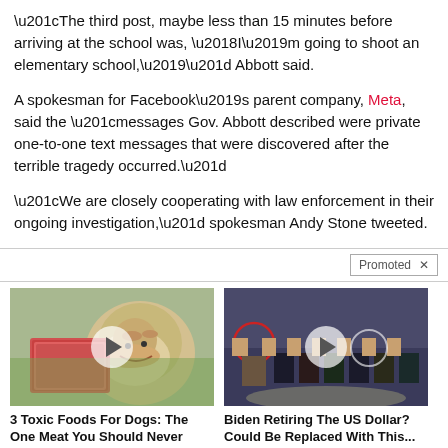“The third post, maybe less than 15 minutes before arriving at the school was, ‘I’m going to shoot an elementary school,’” Abbott said.
A spokesman for Facebook’s parent company, Meta, said the “messages Gov. Abbott described were private one-to-one text messages that were discovered after the terrible tragedy occurred.”
“We are closely cooperating with law enforcement in their ongoing investigation,” spokesman Andy Stone tweeted.
Promoted ×
[Figure (photo): Advertisement thumbnail: dog with raw meat, video play button overlay]
3 Toxic Foods For Dogs: The One Meat You Should Never Feed Your Dog
5,064
[Figure (photo): Advertisement thumbnail: group of people in suits at CIA-style venue, video play button overlay, one person circled in red]
Biden Retiring The US Dollar? Could Be Replaced With This...
144,132